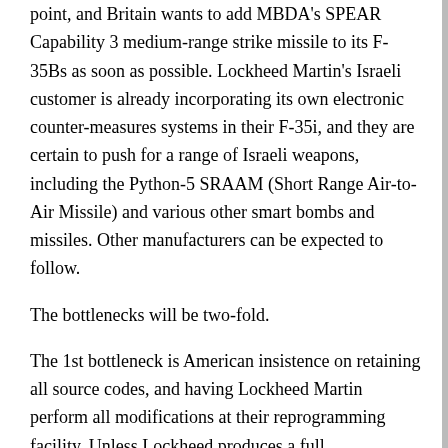point, and Britain wants to add MBDA's SPEAR Capability 3 medium-range strike missile to its F-35Bs as soon as possible. Lockheed Martin's Israeli customer is already incorporating its own electronic counter-measures systems in their F-35i, and they are certain to push for a range of Israeli weapons, including the Python-5 SRAAM (Short Range Air-to-Air Missile) and various other smart bombs and missiles. Other manufacturers can be expected to follow.
The bottlenecks will be two-fold.
The 1st bottleneck is American insistence on retaining all source codes, and having Lockheed Martin perform all modifications at their reprogramming facility. Unless Lockheed produces a full development environment workaround, dealing with the growing queue of requests can easily become a problem. The firm's new Universal Armament Interface could offer the foundation for a way forward, if they decide to take it. The other question involves conflict-of-interest issues, in which Lockheed Martin or the US government decides to use the